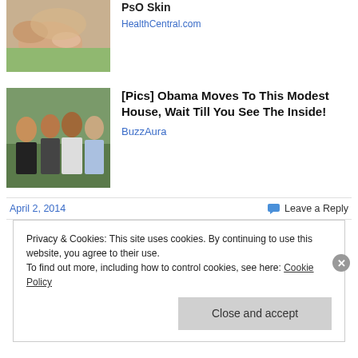[Figure (photo): Thumbnail image for PsO Skin article — hand with skin condition]
PsO Skin
HealthCentral.com
[Figure (photo): Thumbnail image of Barack Obama with family]
[Pics] Obama Moves To This Modest House, Wait Till You See The Inside!
BuzzAura
April 2, 2014
Leave a Reply
Privacy & Cookies: This site uses cookies. By continuing to use this website, you agree to their use.
To find out more, including how to control cookies, see here: Cookie Policy